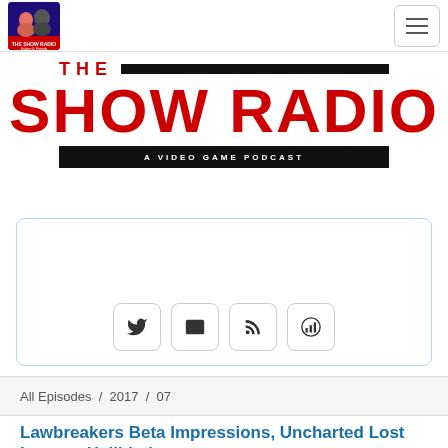[Figure (logo): The Show Radio logo with two hosts in top-left nav, and hamburger menu button in top-right]
[Figure (logo): THE SHOW RADIO - A Video Game Podcast banner logo in red and black]
[Figure (screenshot): Podcast player card with social sharing icons: Twitter, email, RSS, Chartable]
All Episodes / 2017 / 07
Lawbreakers Beta Impressions, Uncharted Lost Legacy, Hellblade: Senua's Sacrifice, 203...